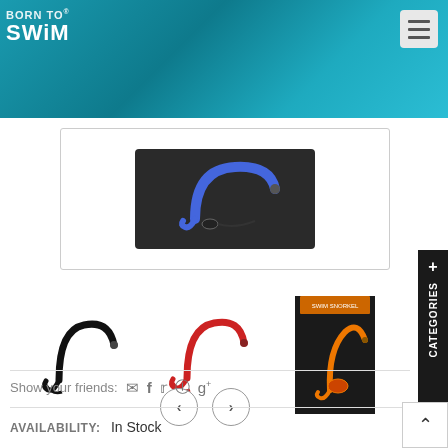[Figure (photo): Born To Swim logo on teal/turquoise background header with hamburger menu icon top right]
[Figure (photo): Main product image: blue swim snorkel displayed in black packaging tray]
[Figure (photo): Thumbnail 1: Black swim snorkel product photo]
[Figure (photo): Thumbnail 2: Red swim snorkel product photo]
[Figure (photo): Thumbnail 3: Orange swim snorkel in black retail packaging]
Show your friends:
AVAILABILITY:  In Stock